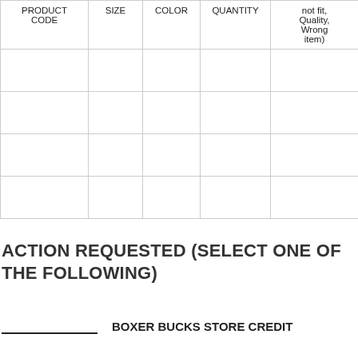| PRODUCT CODE | SIZE | COLOR | QUANTITY | not fit, Quality, Wrong item) |
| --- | --- | --- | --- | --- |
|  |  |  |  |  |
|  |  |  |  |  |
|  |  |  |  |  |
|  |  |  |  |  |
ACTION REQUESTED (SELECT ONE OF THE FOLLOWING)
____________ BOXER BUCKS STORE CREDIT